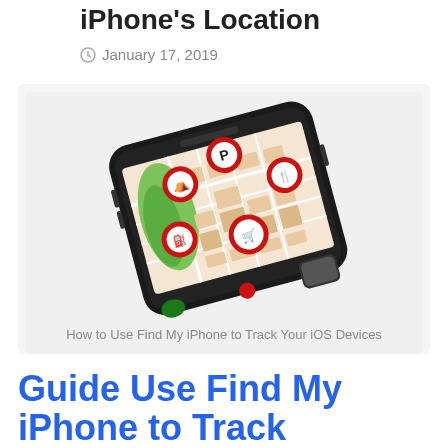iPhone's Location
January 17, 2019
[Figure (illustration): A smartphone displaying a map app with red location pin markers for parking, picnic area, restaurant, gas station, and shopping cart, shown at an angle against a white background.]
How to Use Find My iPhone to Track Your iOS Devices
Guide Use Find My iPhone to Track